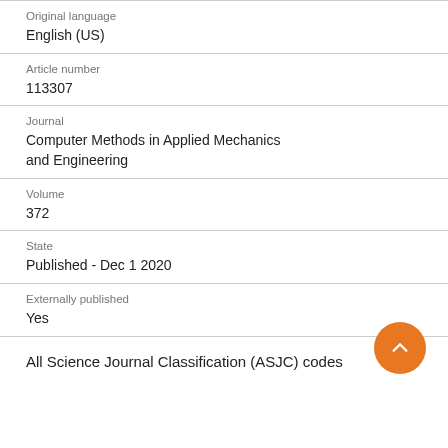Original language
English (US)
Article number
113307
Journal
Computer Methods in Applied Mechanics and Engineering
Volume
372
State
Published - Dec 1 2020
Externally published
Yes
All Science Journal Classification (ASJC) codes